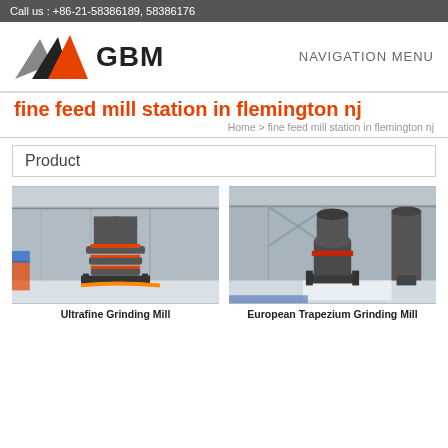Call us : +86-21-58386189, 58386176
[Figure (logo): GBM company logo with orange and grey mountain/triangle graphic and bold GBM text]
NAVIGATION MENU
fine feed mill station in flemington nj
Home > fine feed mill station in flemington nj
Product
[Figure (photo): Industrial Ultrafine Grinding Mill machine in a factory setting]
Ultrafine Grinding Mill
[Figure (photo): Industrial European Trapezium Grinding Mill machine in a factory setting]
European Trapezium Grinding Mill